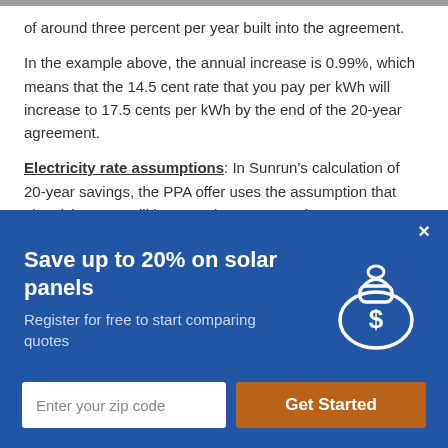of around three percent per year built into the agreement.
In the example above, the annual increase is 0.99%, which means that the 14.5 cent rate that you pay per kWh will increase to 17.5 cents per kWh by the end of the 20-year agreement.
Electricity rate assumptions: In Sunrun's calculation of 20-year savings, the PPA offer uses the assumption that electricity rates will increase by 4.75% each year. However,
[Figure (infographic): Blue overlay banner with 'Save up to 20% on solar panels' heading, 'Register for free to start comparing quotes' subtext, a money bag with dollar sign icon, a close (x) button, zip code input field, and 'Get Started' orange button.]